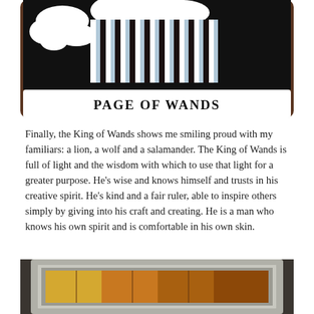[Figure (photo): Tarot card labeled PAGE OF WANDS, showing black and white illustrated figures on a dark brown background. The card has a white banner at the bottom with bold text reading PAGE OF WANDS.]
Finally, the King of Wands shows me smiling proud with my familiars: a lion, a wolf and a salamander. The King of Wands is full of light and the wisdom with which to use that light for a greater purpose. He’s wise and knows himself and trusts in his creative spirit. He’s kind and a fair ruler, able to inspire others simply by giving into his craft and creating. He is a man who knows his own spirit and is comfortable in his own skin.
[Figure (photo): Bottom portion of a framed artwork with a wooden grey frame, partially visible, showing colorful illustrated imagery inside.]